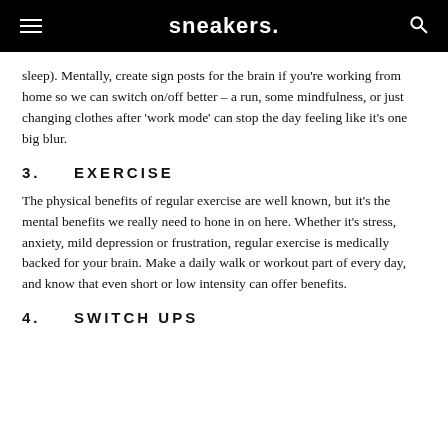sneakers.
sleep). Mentally, create sign posts for the brain if you're working from home so we can switch on/off better – a run, some mindfulness, or just changing clothes after 'work mode' can stop the day feeling like it's one big blur.
3.   EXERCISE
The physical benefits of regular exercise are well known, but it's the mental benefits we really need to hone in on here. Whether it's stress, anxiety, mild depression or frustration, regular exercise is medically backed for your brain. Make a daily walk or workout part of every day, and know that even short or low intensity can offer benefits.
4.   SWITCH UPS